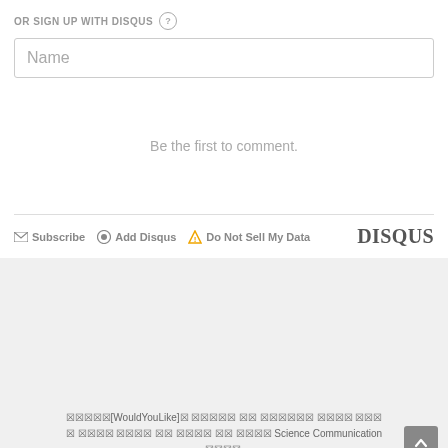OR SIGN UP WITH DISQUS ?
Name
Be the first to comment.
Subscribe  Add Disqus  Do Not Sell My Data  DISQUS
[WouldYouLike] Science Communication